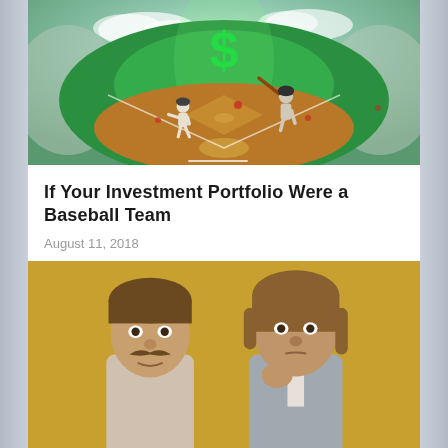[Figure (photo): Baseball stadium composite image with green field, players, and a large green dollar sign ($) floating in the sky above the stadium]
If Your Investment Portfolio Were a Baseball Team
August 11, 2018
[Figure (photo): Two young men posing against a yellow/mustard background — one with a mustache wearing a patterned shirt, one in a light grey blazer]